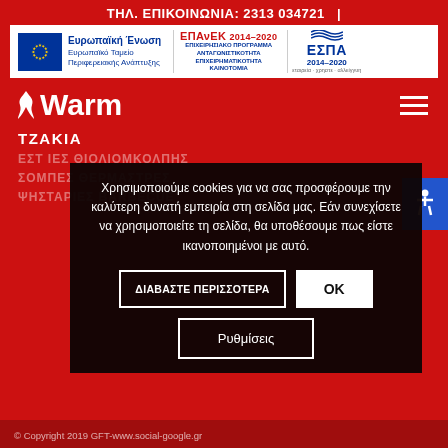ΤΗΛ. ΕΠΙΚΟΙΝΩΝΙΑ: 2313 034721  |
[Figure (logo): EU banner with European Union flag, Ευρωπαϊκή Ένωση / Ευρωπαϊκό Ταμείο Περιφερειακής Ανάπτυξης, EPAnEK 2014-2020 ΕΠΙΧΕΙΡΗΣΙΑΚΟ ΠΡΟΓΡΑΜΜΑ ΑΝΤΑΓΩΝΙΣΤΙΚΟΤΗΤΑ ΕΠΙΧΕΙΡΗΜΑΤΙΚΟΤΗΤΑ ΚΑΙΝΟΤΟΜΙΑ, ΕΣΠΑ 2014-2020]
[Figure (logo): Warm brand logo with flame icon]
ΤΖΑΚΙΑ
ΕΣ ΤΙΕ ΘΙΟΛΙΟΜΚΟΛΠΗΣ
ΣΟΜΠΕΣ ΘΕΡΜΑΣΤΡΕΣ
ΨΗΣΤΑΡΙΕΣ BARBECUE
Χρησιμοποιούμε cookies για να σας προσφέρουμε την καλύτερη δυνατή εμπειρία στη σελίδα μας. Εάν συνεχίσετε να χρησιμοποιείτε τη σελίδα, θα υποθέσουμε πως είστε ικανοποιημένοι με αυτό.
ΔΙΑΒΑΣΤΕ ΠΕΡΙΣΣΟΤΕΡΑ
OK
Ρυθμίσεις
© Copyright 2019 GFT-www.social-google.gr